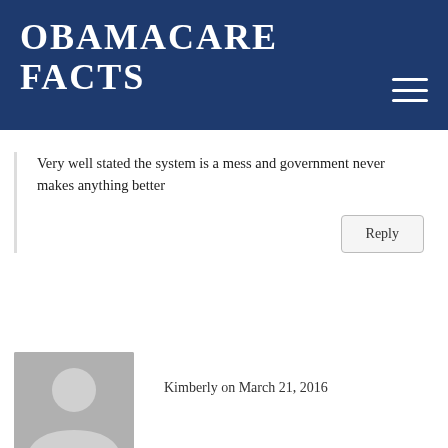OBAMACARE FACTS
Very well stated the system is a mess and government never makes anything better
Reply
Kimberly on March 21, 2016